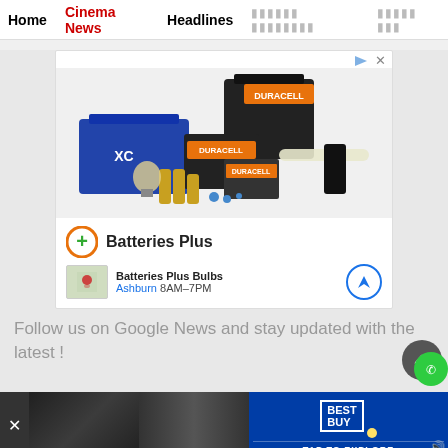Home  Cinema News  Headlines  [Tamil navigation items]
[Figure (photo): Advertisement for Batteries Plus showing various Duracell batteries, car batteries, light bulbs, and other power products arranged together. Brand logo shows orange circle with plus sign and 'Batteries Plus' text. Location info shows 'Batteries Plus Bulbs, Ashburn 8AM-7PM']
Follow us on Google News and stay updated with the latest !
[Figure (photo): Bottom advertisement banner for Best Buy with 'TAP TO EXPLORE' text, showing partial thumbnail images and Best Buy logo]